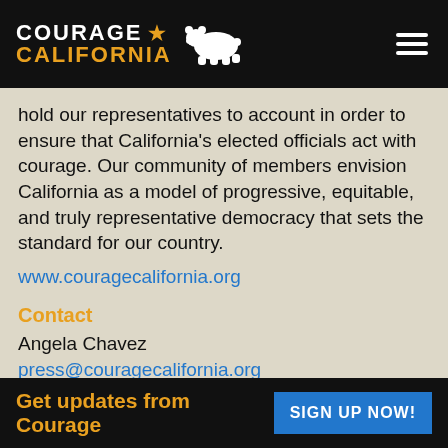Courage California
hold our representatives to account in order to ensure that California's elected officials act with courage. Our community of members envision California as a model of progressive, equitable, and truly representative democracy that sets the standard for our country.
www.couragecalifornia.org
Contact
Angela Chavez
press@couragecalifornia.org
Get updates from Courage   SIGN UP NOW!